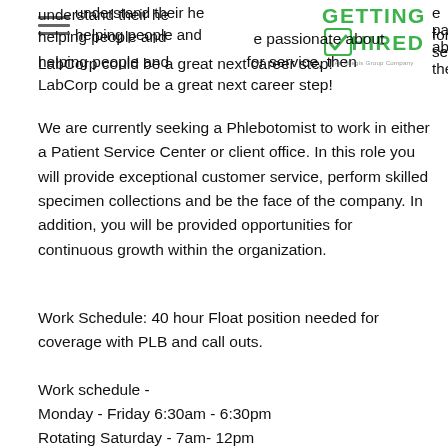[Figure (logo): Getting Hired logo - An Allegis Group Company, with green checkmark]
understand their he passionate about helping people and for service, then LabCorp could be a great next career step!
We are currently seeking a Phlebotomist to work in either a Patient Service Center or client office. In this role you will provide exceptional customer service, perform skilled specimen collections and be the face of the company. In addition, you will be provided opportunities for continuous growth within the organization.
Work Schedule: 40 hour Float position needed for coverage with PLB and call outs.
Work schedule -
Monday - Friday 6:30am - 6:30pm
Rotating Saturday - 7am- 12pm